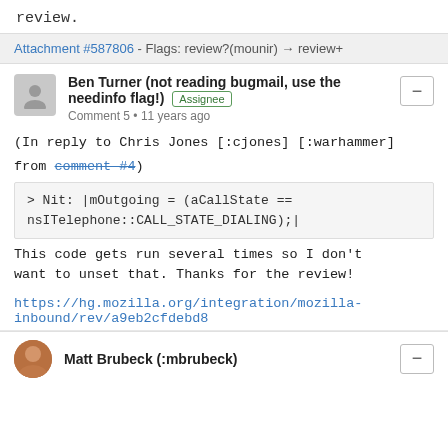review.
Attachment #587806 - Flags: review?(mounir) → review+
Ben Turner (not reading bugmail, use the needinfo flag!) [Assignee] Comment 5 • 11 years ago
(In reply to Chris Jones [:cjones] [:warhammer] from comment #4)
> Nit: |mOutgoing = (aCallState == nsITelephone::CALL_STATE_DIALING);|
This code gets run several times so I don't want to unset that. Thanks for the review!
https://hg.mozilla.org/integration/mozilla-inbound/rev/a9eb2cfdebd8
Matt Brubeck (:mbrubeck)